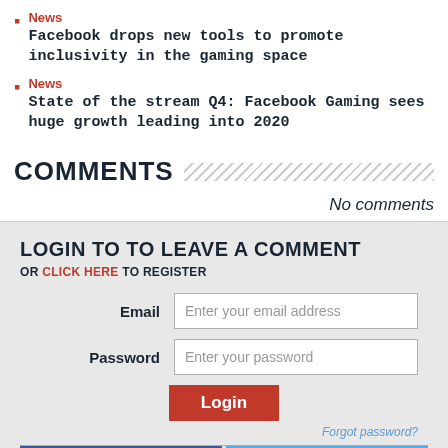News
Facebook drops new tools to promote inclusivity in the gaming space
News
State of the stream Q4: Facebook Gaming sees huge growth leading into 2020
COMMENTS
No comments
LOGIN TO TO LEAVE A COMMENT
OR CLICK HERE TO REGISTER
Email  Enter your email address
Password  Enter your password
Login
Forgot password?
Login with Facebook  Sign in with Twitter